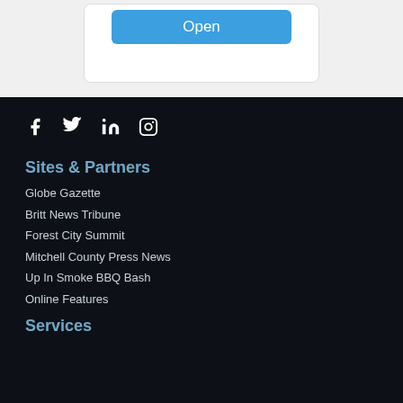[Figure (screenshot): Blue 'Open' button on a white card with rounded corners against a light gray background]
[Figure (infographic): Social media icons: Facebook, Twitter, LinkedIn, Instagram — white icons on dark background]
Sites & Partners
Globe Gazette
Britt News Tribune
Forest City Summit
Mitchell County Press News
Up In Smoke BBQ Bash
Online Features
Services